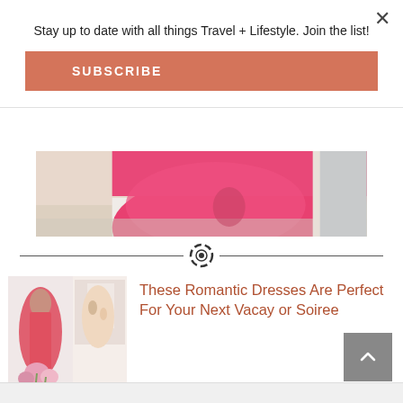Stay up to date with all things Travel + Lifestyle. Join the list!
SUBSCRIBE
×
[Figure (photo): Partial view of a person in a coral/pink flowing dress near a white wall and doorway]
[Figure (logo): Circular decorative divider icon with a heart/camera motif]
[Figure (photo): Collage of women in romantic dresses including a coral maxi dress and a floral dress with pink flowers]
These Romantic Dresses Are Perfect For Your Next Vacay or Soiree